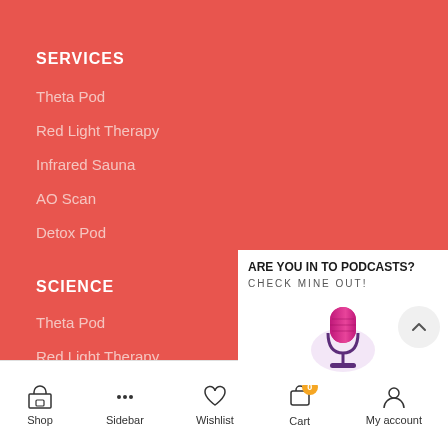SERVICES
Theta Pod
Red Light Therapy
Infrared Sauna
AO Scan
Detox Pod
SCIENCE
Theta Pod
Red Light Therapy
Infrared Sauna
[Figure (infographic): Podcast promotional popup with text 'ARE YOU IN TO PODCASTS? CHECK MINE OUT!' and a microphone illustration]
Shop | Sidebar | Wishlist | Cart | My account